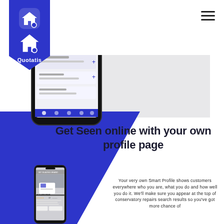[Figure (logo): Quotatis logo — white house icon on blue pentagon/shield shape with text 'Quotatis']
[Figure (screenshot): Smartphone showing the Quotatis app interface with listing details]
[Figure (screenshot): Smartphone showing a Quotatis Smart Profile page for 'MY GLAZING BRAND' with star rating and review count]
Get Seen online with your own profile page
Your very own Smart Profile shows customers everywhere who you are, what you do and how well you do it. We'll make sure you appear at the top of conservatory repairs search results so you've got more chance of